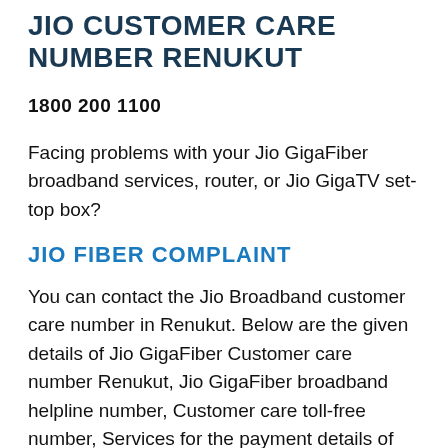JIO CUSTOMER CARE NUMBER RENUKUT
1800 200 1100
Facing problems with your Jio GigaFiber broadband services, router, or Jio GigaTV set-top box?
JIO FIBER COMPLAINT
You can contact the Jio Broadband customer care number in Renukut. Below are the given details of Jio GigaFiber Customer care number Renukut, Jio GigaFiber broadband helpline number, Customer care toll-free number, Services for the payment details of Renukut & lots more.